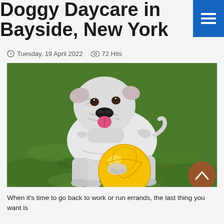Doggy Daycare in Bayside, New York
Tuesday, 19 April 2022  72 Hits
[Figure (photo): White English Bulldog standing on green grass with a yellow ball, tongue out, looking happy.]
When it's time to go back to work or run errands, the last thing you want is